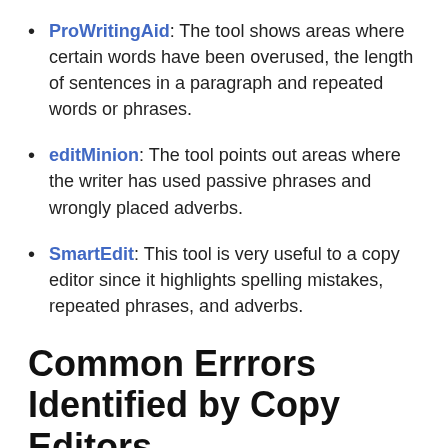ProWritingAid: The tool shows areas where certain words have been overused, the length of sentences in a paragraph and repeated words or phrases.
editMinion: The tool points out areas where the writer has used passive phrases and wrongly placed adverbs.
SmartEdit: This tool is very useful to a copy editor since it highlights spelling mistakes, repeated phrases, and adverbs.
Common Errrors Identified by Copy Editors